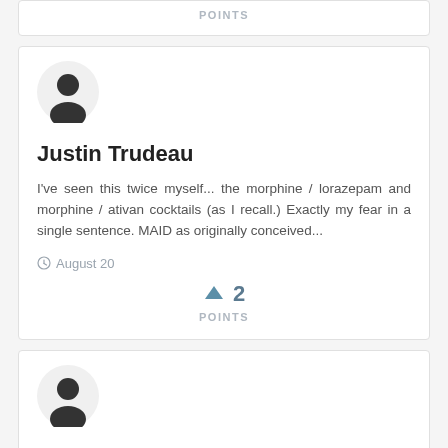POINTS
[Figure (illustration): User avatar icon for Justin Trudeau]
Justin Trudeau
I've seen this twice myself... the morphine / lorazepam and morphine / ativan cocktails (as I recall.) Exactly my fear in a single sentence. MAID as originally conceived...
August 20
↑ 2
POINTS
[Figure (illustration): User avatar icon for Coronavirus_2020.01.28]
Coronavirus_2020.01.28